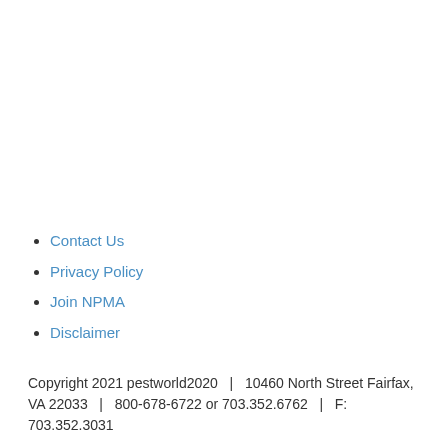Contact Us
Privacy Policy
Join NPMA
Disclaimer
Copyright 2021 pestworld2020   |   10460 North Street Fairfax, VA 22033   |   800-678-6722 or 703.352.6762   |   F: 703.352.3031